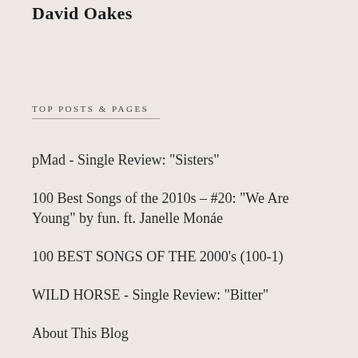David Oakes
TOP POSTS & PAGES
pMad - Single Review: "Sisters"
100 Best Songs of the 2010s – #20: "We Are Young" by fun. ft. Janelle Monáe
100 BEST SONGS OF THE 2000's (100-1)
WILD HORSE - Single Review: "Bitter"
About This Blog